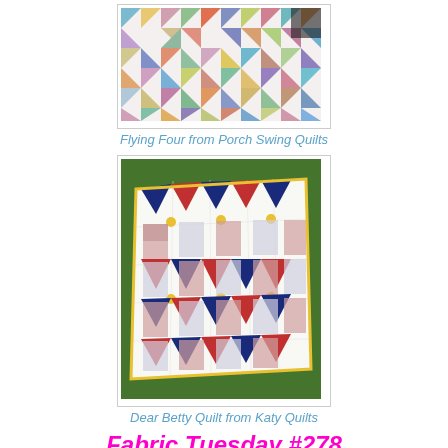[Figure (photo): Photo of a colorful Flying Four quilt with triangular patchwork pieces in many colors including blue, green, orange, yellow, red, and purple on a white background]
Flying Four from Porch Swing Quilts
[Figure (photo): Photo of a Dear Betty quilt laid on green grass, featuring red, navy blue, yellow, and white patchwork blocks with star and pinwheel patterns]
Dear Betty Quilt from Katy Quilts
Fabric Tuesday #278